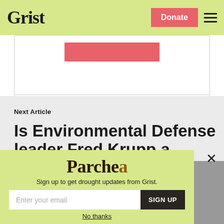Grist
[Figure (screenshot): White card with pink/red button partially visible at top of content]
Next Article
Is Environmental Defense leader Fred Krupp a savvy
[Figure (infographic): Parchea modal popup with yellow-green background, Parched logo, email signup form, and No thanks link]